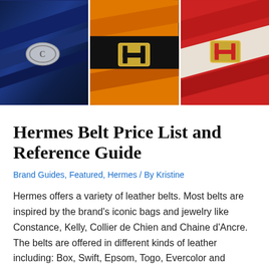[Figure (photo): Three Hermes leather belts side by side: a blue/navy belt with silver Dior-style buckle, a black/orange belt with gold H buckle, and a red belt with gold H buckle]
Hermes Belt Price List and Reference Guide
Brand Guides, Featured, Hermes / By Kristine
Hermes offers a variety of leather belts. Most belts are inspired by the brand's iconic bags and jewelry like Constance, Kelly, Collier de Chien and Chaine d'Ancre.  The belts are offered in different kinds of leather including: Box, Swift, Epsom, Togo, Evercolor and Porosus Crocodile. See below for the list of the types of belts …